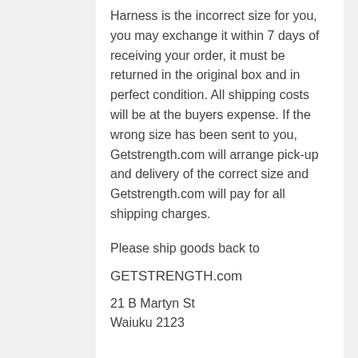Harness is the incorrect size for you, you may exchange it within 7 days of receiving your order, it must be returned in the original box and in perfect condition. All shipping costs will be at the buyers expense. If the wrong size has been sent to you, Getstrength.com will arrange pick-up and delivery of the correct size and Getstrength.com will pay for all shipping charges.
Please ship goods back to
GETSTRENGTH.com
21 B Martyn St
Waiuku 2123